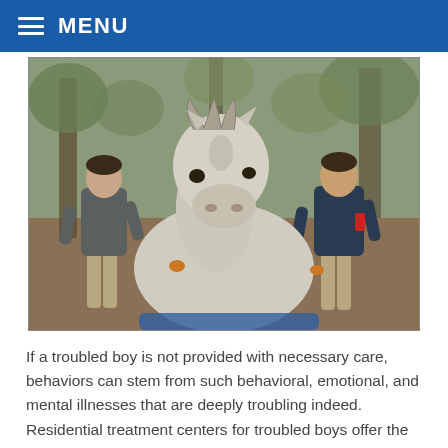MENU
[Figure (photo): Two young men grooming or tending to a white/grey horse outdoors in a wooded area with chickens visible in the background.]
If a troubled boy is not provided with necessary care, behaviors can stem from such behavioral, emotional, and mental illnesses that are deeply troubling indeed. Residential treatment centers for troubled boys offer the treatment required to prevent and negate damage from such disorders.